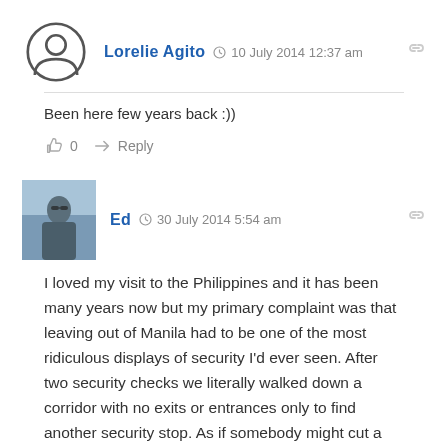[Figure (illustration): Generic user avatar placeholder circle with person silhouette icon]
Lorelie Agito  10 July 2014 12:37 am
Been here few years back :))
0   Reply
[Figure (photo): Photo of a man (Ed) with sunglasses outdoors]
Ed  30 July 2014 5:54 am
I loved my visit to the Philippines and it has been many years now but my primary complaint was that leaving out of Manila had to be one of the most ridiculous displays of security I'd ever seen. After two security checks we literally walked down a corridor with no exits or entrances only to find another security stop. As if somebody might cut a whole through the roof and climb on down...nope, they have that scenario covered! It topped my list of "most security stops exiting a